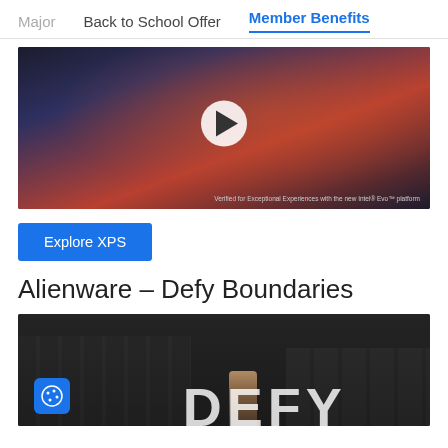Major   Back to School Offer   Member Benefits
[Figure (screenshot): Video thumbnail showing a person in orange clothing looking up, with a play button overlay. Caption reads: Verified for Exceptional Experiences with the new Intel Evo platform]
Explore XPS
Alienware – Defy Boundaries
[Figure (screenshot): Video thumbnail for Alienware Defy Boundaries campaign showing cityscape with large DEFY text overlay and a person standing in the middle. Cookie icon in bottom left corner.]